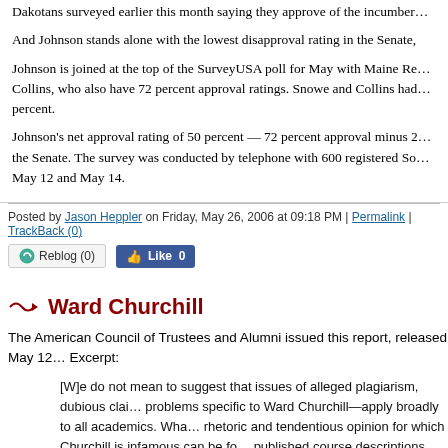Dakotans surveyed earlier this month saying they approve of the incumber...
And Johnson stands alone with the lowest disapproval rating in the Senate,
Johnson is joined at the top of the SurveyUSA poll for May with Maine Re... Collins, who also have 72 percent approval ratings. Snowe and Collins ha... percent.
Johnson’s net approval rating of 50 percent — 72 percent approval minus ... the Senate. The survey was conducted by telephone with 600 registered So... May 12 and May 14.
Posted by Jason Heppler on Friday, May 26, 2006 at 09:18 PM | Permalink | TrackBack (0)
Ward Churchill
The American Council of Trustees and Alumni issued this report, released May 12... Excerpt:
[W]e do not mean to suggest that issues of alleged plagiarism, dubious clai... problems specific to Ward Churchill—apply broadly to all academics. Wha... rhetoric and tendentious opinion for which Churchill is infamous can be fo... published course descriptions and online course materials, professors are o... use their positions to push political agendas in the name of teaching studen...
Given this state of affairs, some will argue—indeed many have already—...